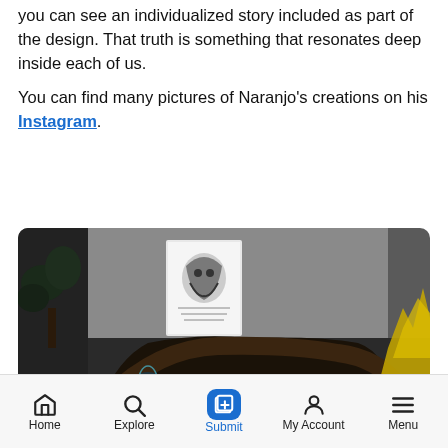you can see an individualized story included as part of the design. That truth is something that resonates deep inside each of us.
You can find many pictures of Naranjo's creations on his Instagram.
[Figure (photo): A dimly lit room showing a framed black-and-white illustrated poster on a wall, a dark wooden sculptural figure, houseplants on the left, and yellow decorative leaves on the right.]
Home  Explore  Submit  My Account  Menu